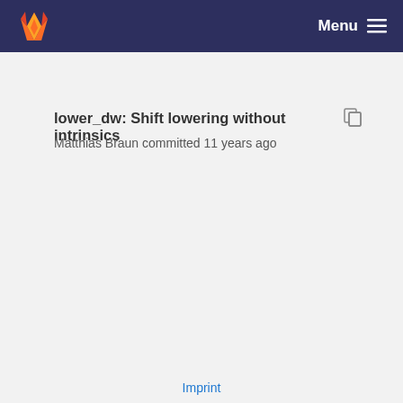Menu
lower_dw: Shift lowering without intrinsics
Matthias Braun committed 11 years ago
Imprint